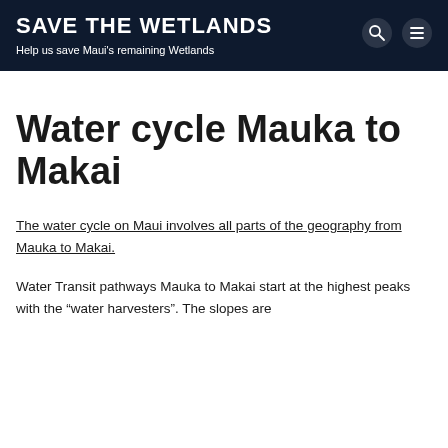SAVE THE WETLANDS
Help us save Maui's remaining Wetlands
Water cycle Mauka to Makai
The water cycle on Maui involves all parts of the geography from Mauka to Makai.
Water Transit pathways Mauka to Makai start at the highest peaks with the “water harvesters”. The slopes are